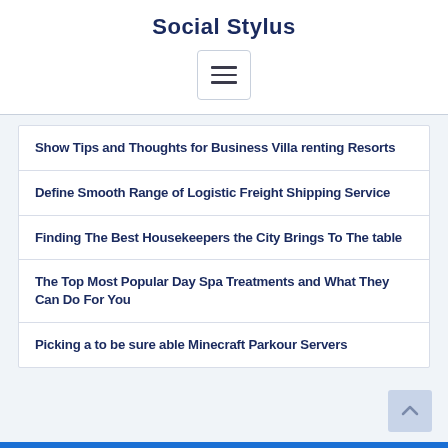Social Stylus
[Figure (other): Hamburger menu button icon with three horizontal lines]
Show Tips and Thoughts for Business Villa renting Resorts
Define Smooth Range of Logistic Freight Shipping Service
Finding The Best Housekeepers the City Brings To The table
The Top Most Popular Day Spa Treatments and What They Can Do For You
Picking a to be sure able Minecraft Parkour Servers